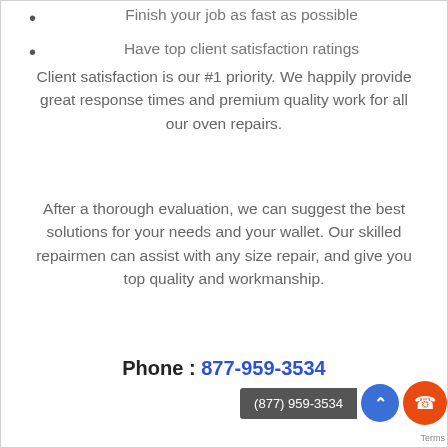Finish your job as fast as possible
Have top client satisfaction ratings
Client satisfaction is our #1 priority. We happily provide great response times and premium quality work for all our oven repairs.
After a thorough evaluation, we can suggest the best solutions for your needs and your wallet. Our skilled repairmen can assist with any size repair, and give you top quality and workmanship.
Phone : 877-959-3534
(877) 959-3534